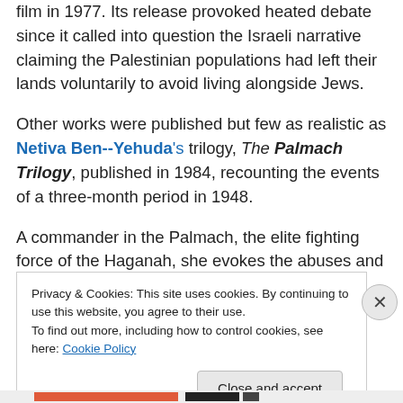film in 1977. Its release provoked heated debate since it called into question the Israeli narrative claiming the Palestinian populations had left their lands voluntarily to avoid living alongside Jews.
Other works were published but few as realistic as Netiva Ben--Yehuda's trilogy, The Palmach Trilogy, published in 1984, recounting the events of a three-month period in 1948.
A commander in the Palmach, the elite fighting force of the Haganah, she evokes the abuses and acts of violence
Privacy & Cookies: This site uses cookies. By continuing to use this website, you agree to their use.
To find out more, including how to control cookies, see here: Cookie Policy
Close and accept